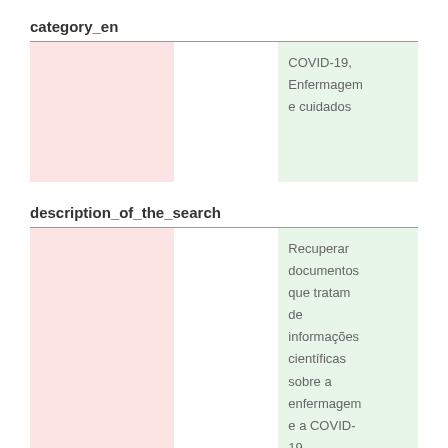category_en
|  |  | COVID-19, Enfermagem e cuidados |
description_of_the_search
|  |  | Recuperar documentos que tratam de informações científicas sobre a enfermagem e a COVID-19. |